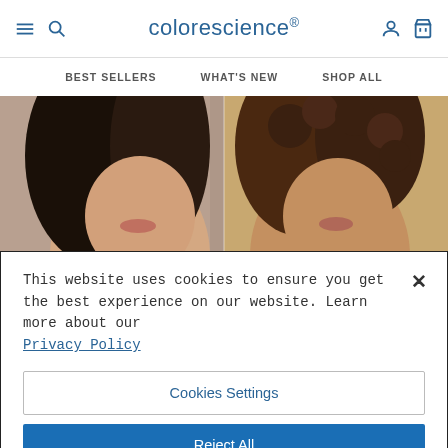colorescience
BEST SELLERS   WHAT'S NEW   SHOP ALL
[Figure (photo): Hero image showing two women's faces side by side, one with straight dark hair on the left and one with curly dark hair on the right]
This website uses cookies to ensure you get the best experience on our website. Learn more about our Privacy Policy
Cookies Settings
Reject All
Accept All Cookies